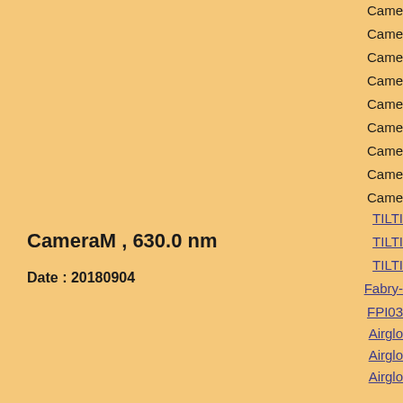CameraM , 630.0 nm
Date : 20180904
Click figure to enlarge
Came
Came
Came
Came
Came
Came
Came
Came
Came
TILTI
TILTI
TILTI
Fabry-
FPI03
Airglo
Airglo
Airglo
Airglo
Airglo
Airglo
3-ch p
3-ch p